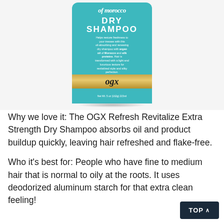[Figure (photo): OGX Argan Oil of Morocco Dry Shampoo product canister in teal/turquoise color with gold OGX logo band. The can reads 'of morocco DRY SHAMPOO' with descriptive text about oil absorbing and renewing properties with argan oil of Morocco and silk proteins.]
Why we love it: The OGX Refresh Revitalize Extra Strength Dry Shampoo absorbs oil and product buildup quickly, leaving hair refreshed and flake-free.
Who it's best for: People who have fine to medium hair that is normal to oily at the roots. It uses deodorized aluminum starch for that extra clean feeling!